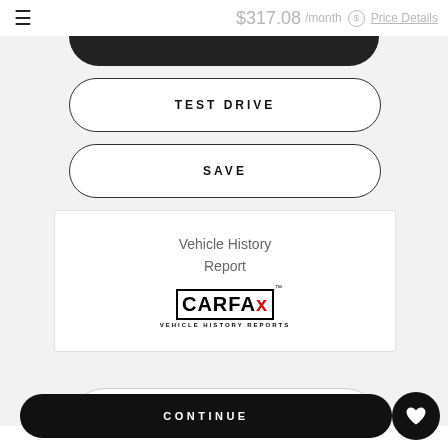≡   $317.08 /month  $ Price Details
TEST DRIVE
SAVE
[Figure (logo): CARFAX Vehicle History Reports logo with black border box]
Vehicle History Report
CONTINUE